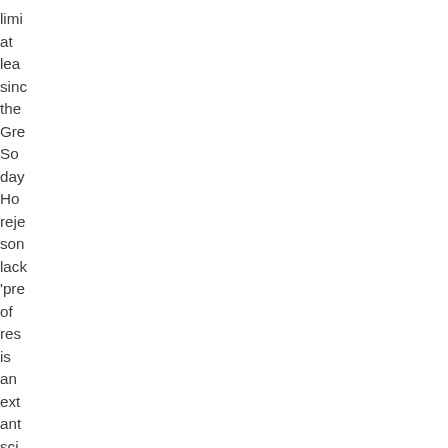limi at lea sinc the Gre So day Ho reje son lack 'pre of res is an ext ant sci arg All ne